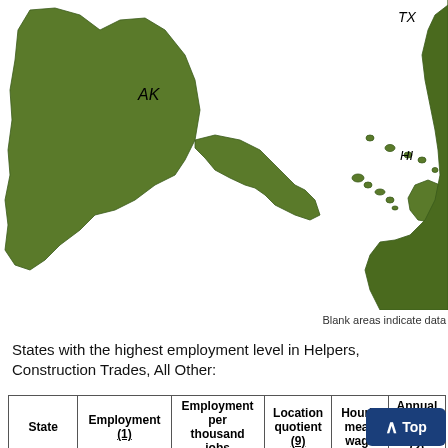[Figure (map): Partial US map showing Alaska (AK), Hawaii (HI), and Texas (TX) highlighted in dark green, indicating high employment in Helpers, Construction Trades, All Other. Other states visible at edges. White background.]
Blank areas indicate data
States with the highest employment level in Helpers, Construction Trades, All Other:
| State | Employment (1) | Employment per thousand jobs | Location quotient (9) | Hourly mean wage | Annual mean wage (2) |
| --- | --- | --- | --- | --- | --- |
| Texas | 5,400 | 0.44 | 2.28 | $ 17.26 | $ 35,890 |
| California | 3,670 | 0.22 | 1.15 | $ 20.08 | $ |
| Louisiana | 2,390 | 1.33 | 6.86 | $ 17.28 | 35,940 |